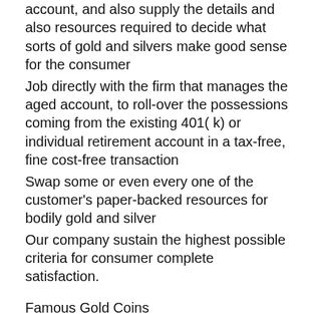account, and also supply the details and also resources required to decide what sorts of gold and silvers make good sense for the consumer
Job directly with the firm that manages the aged account, to roll-over the possessions coming from the existing 401( k) or individual retirement account in a tax-free, fine cost-free transaction
Swap some or even every one of the customer's paper-backed resources for bodily gold and silver
Our company sustain the highest possible criteria for consumer complete satisfaction.
Famous Gold Coins
Why We Rely on Goldco